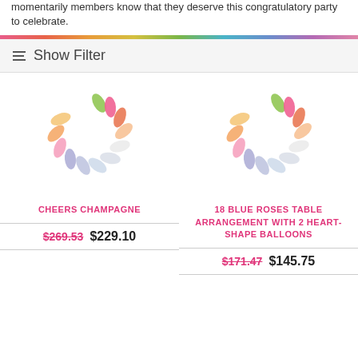momentarily members know that they deserve this congratulatory party to celebrate.
Show Filter
[Figure (illustration): Colorful spinning loader/pinwheel graphic for CHEERS CHAMPAGNE product]
CHEERS CHAMPAGNE
$269.53  $229.10
[Figure (illustration): Colorful spinning loader/pinwheel graphic for 18 BLUE ROSES TABLE ARRANGEMENT WITH 2 HEART-SHAPE BALLOONS product]
18 BLUE ROSES TABLE ARRANGEMENT WITH 2 HEART-SHAPE BALLOONS
$171.47  $145.75